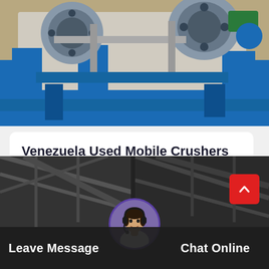[Figure (photo): Industrial blue and grey machinery — jaw crusher or mobile crushing equipment with blue frame and grey rotating components, photographed close-up.]
Venezuela Used Mobile Crushers For Sale
Hot selling jaw stone crusher stone crushers for sale used in venezuelafree inspectionus 4999888888 set1 set minordershanghai ton…
[Figure (photo): Industrial factory interior with dark ceiling structures, split two-panel image. Includes circular portrait avatar of a female customer service representative with headset, a red scroll-to-top button with upward chevron. Bottom bar with Leave Message and Chat Online buttons.]